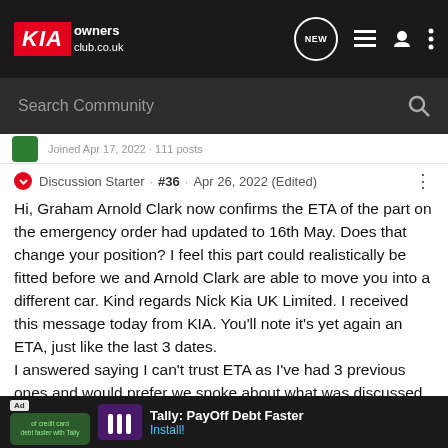KIA owners club.co.uk — New, list, user, menu icons
Search Community
Joined Apr 17, 2022 · 111 posts
Discussion Starter · #36 · Apr 26, 2022 (Edited)
Hi, Graham Arnold Clark now confirms the ETA of the part on the emergency order had updated to 16th May. Does that change your position? I feel this part could realistically be fitted before we and Arnold Clark are able to move you into a different car. Kind regards Nick Kia UK Limited. I received this message today from KIA. You'll note it's yet again an ETA, just like the last 3 dates.
I answered saying I can't trust ETA as I've had 3 previous ones and would prefer we spoke about what was discussed on the phone about changing the car. I asked them if I could see the report o … reply.
Not sure …
Ad   Tally: PayOff Debt Faster   Install!